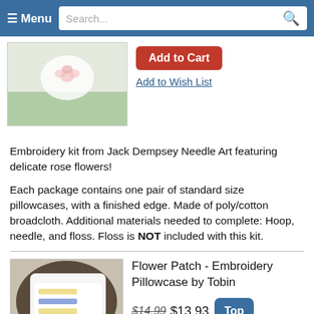≡ Menu  Search...
[Figure (photo): Photo of a white pillowcase with embroidered rose flowers on a green background]
Add to Cart
Add to Wish List
Embroidery kit from Jack Dempsey Needle Art featuring delicate rose flowers!
Each package contains one pair of standard size pillowcases, with a finished edge. Made of poly/cotton broadcloth. Additional materials needed to complete: Hoop, needle, and floss. Floss is NOT included with this kit.
[Figure (photo): Photo of a white pillowcase with Flower Patch embroidery design, displayed on a dark wooden frame with red berries nearby]
Flower Patch - Embroidery Pillowcase by Tobin
$14.99 $13.93
Add to Cart
Top
Add to Wish List